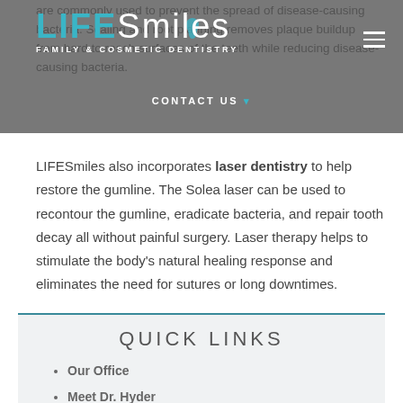are commonly used to prevent the spread of disease-causing bacteria. Scaling and root planning removes plaque buildup from hard to reach surfaces of the teeth while reducing disease-causing bacteria.
[Figure (logo): LIFESmiles Family & Cosmetic Dentistry logo with navigation overlay including CONTACT US menu bar and hamburger menu icon]
LIFESmiles also incorporates laser dentistry to help restore the gumline. The Solea laser can be used to recontour the gumline, eradicate bacteria, and repair tooth decay all without painful surgery. Laser therapy helps to stimulate the body's natural healing response and eliminates the need for sutures or long downtimes.
QUICK LINKS
Our Office
Meet Dr. Hyder